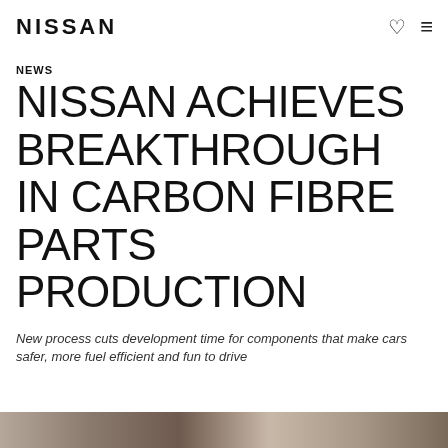NISSAN
NEWS
NISSAN ACHIEVES BREAKTHROUGH IN CARBON FIBRE PARTS PRODUCTION
New process cuts development time for components that make cars safer, more fuel efficient and fun to drive
[Figure (photo): Partial bottom strip showing a photo related to carbon fibre parts]